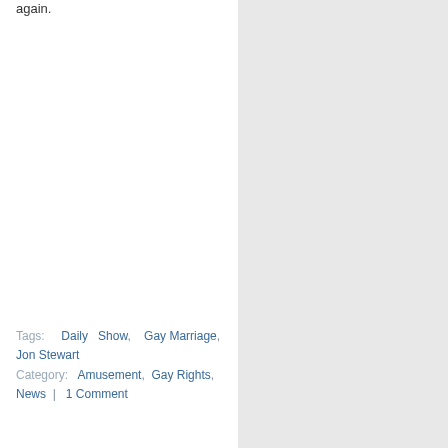again.
Tags: Daily Show, Gay Marriage, Jon Stewart
Category: Amusement, Gay Rights, News | 1 Comment